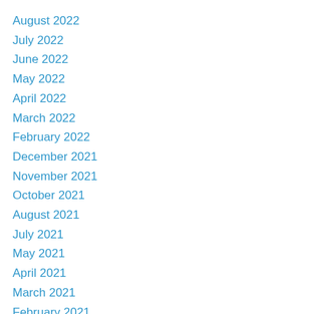August 2022
July 2022
June 2022
May 2022
April 2022
March 2022
February 2022
December 2021
November 2021
October 2021
August 2021
July 2021
May 2021
April 2021
March 2021
February 2021
January 2021
December 2020
November 2020